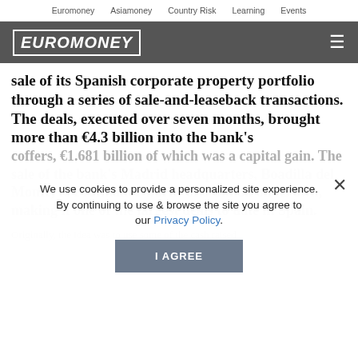Euromoney  Asiamoney  Country Risk  Learning  Events
[Figure (logo): Euromoney logo in white italic bold text inside a white border box on a gray header bar]
sale of its Spanish corporate property portfolio through a series of sale-and-leaseback transactions. The deals, executed over seven months, brought more than €4.3 billion into the bank's coffers, €1.681 billion of which was a capital gain. The sale of the bank's Madrid headquarters, Boadilla del Monte, to Profinance worth €1.9 billion on its own, making it one of the largest deals to date in Spain.
We use cookies to provide a personalized site experience.
By continuing to use & browse the site you agree to our Privacy Policy.
I AGREE
Originally, the idea was to use some of the cash raised